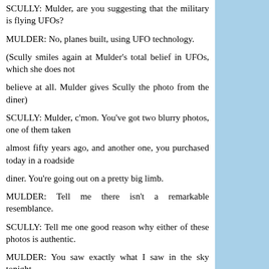SCULLY: Mulder, are you suggesting that the military is flying UFOs?
MULDER: No, planes built, using UFO technology.
(Scully smiles again at Mulder's total belief in UFOs, which she does not
believe at all. Mulder gives Scully the photo from the diner)
SCULLY: Mulder, c'mon. You've got two blurry photos, one of them taken
almost fifty years ago, and another one, you purchased today in a roadside
diner. You're going out on a pretty big limb.
MULDER: Tell me there isn't a remarkable resemblance.
SCULLY: Tell me one good reason why either of these photos is authentic.
MULDER: You saw exactly what I saw in the sky tonight.
What do you think they were?
SCULLY: Just because I can't explain it, doesn't mean I'm gonna believe
they were UFOs.
MULDER: Unidentified Flying Objects, I think that fits the description